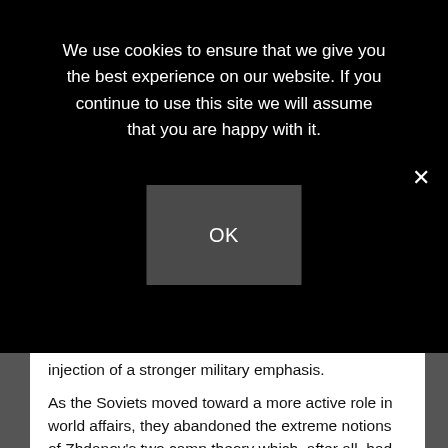We use cookies to ensure that we give you the best experience on our website. If you continue to use this site we will assume that you are happy with it.
OK
injection of a stronger military emphasis.
As the Soviets moved toward a more active role in world affairs, they abandoned the extreme notions of Zhdanov's two camp theory which, after all, had been formulated to provide an ideological justification for Soviet isolationism.
Peaceful coexistence, a policy used sporadically by the Soviets from October 1917 on, was re-introduced, supplying the necessary theoretical backing for a program of dynamic engagement in world affairs.
Although this strategy focused on living in peace with states